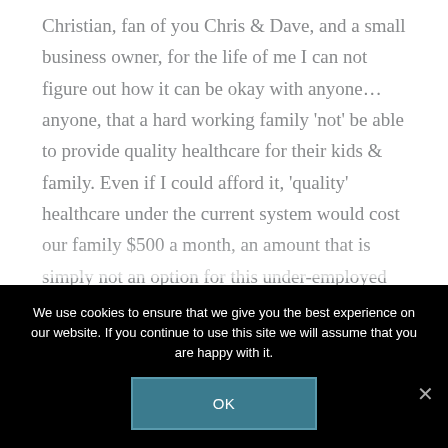Christian, fan of you Chris & Dave, and a small business owner, for the life of me I can not figure out how it can be okay with anyone…anyone, that a hard working family 'not' be able to provide quality healthcare for their kids & family. Even if I could afford it, 'quality' healthcare under the current system would cost our family $500 a month, an amount that is simply not an option for this under-employed provider of my home. If you have ever needed medical care for one of your kids and not
We use cookies to ensure that we give you the best experience on our website. If you continue to use this site we will assume that you are happy with it.
OK